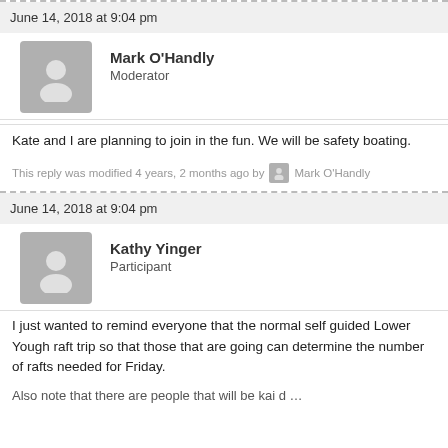June 14, 2018 at 9:04 pm
Mark O'Handly
Moderator
Kate and I are planning to join in the fun. We will be safety boating.
This reply was modified 4 years, 2 months ago by Mark O'Handly
June 14, 2018 at 9:04 pm
Kathy Yinger
Participant
I just wanted to remind everyone that the normal self guided Lower Yough raft trip so that those that are going can determine the number of rafts needed for Friday.